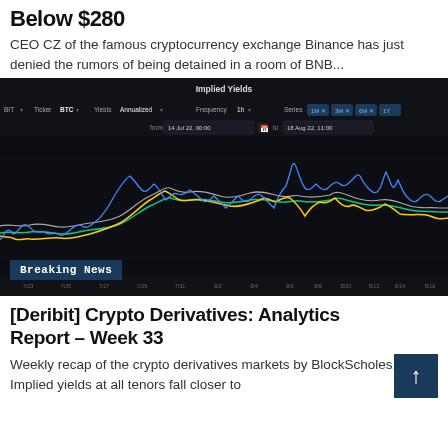Below $280
CEO CZ of the famous cryptocurrency exchange Binance has just denied the rumors of being detained in a room of BNB...
[Figure (continuous-plot): Implied Yields chart showing multiple series (1M, 3M, 6M, 1Y) for BTC over the period 14 Jul 22, 00:00 to 18 Aug 22, 11:00. Dark background with blue, yellow/orange, green, and gray lines showing implied yield fluctuations. X-axis shows dates from 7/23 to 8/16. Title: Implied Yields.]
Breaking News
[Deribit] Crypto Derivatives: Analytics Report – Week 33
Weekly recap of the crypto derivatives markets by BlockScholes. BTC Implied yields at all tenors fall closer to